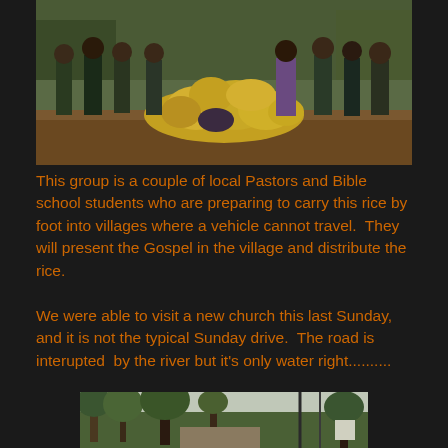[Figure (photo): Group of local pastors and Bible school students standing behind a large pile of yellow rice bags on dirt ground with green vegetation in background]
This group is a couple of local Pastors and Bible school students who are preparing to carry this rice by foot into villages where a vehicle cannot travel.  They will present the Gospel in the village and distribute the rice.
We were able to visit a new church this last Sunday, and it is not the typical Sunday drive.  The road is interupted  by the river but it's only water right..........
[Figure (photo): Outdoor scene with trees and vegetation, road leading to a river crossing]